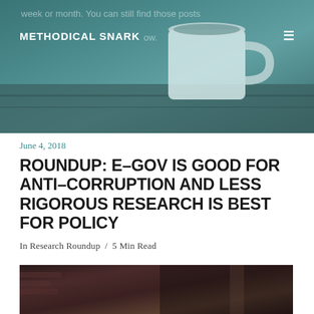[Figure (photo): Hero banner image showing a mug on a wooden surface with teal/blue-green tones. Partially visible text reads 'week or month. You can still find those posts' and 'below.' overlaid on the image.]
METHODICAL SNARK
June 4, 2018
ROUNDUP: E–GOV IS GOOD FOR ANTI–CORRUPTION AND LESS RIGOROUS RESEARCH IS BEST FOR POLICY
In Research Roundup / 5 Min Read
[Figure (photo): Partial street scene photograph at the bottom of the page, showing a brick wall and urban environment in dark tones.]